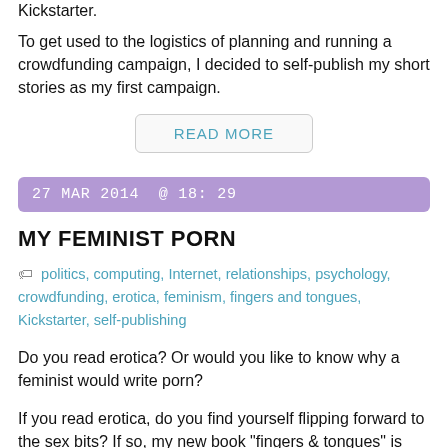Kickstarter.
To get used to the logistics of planning and running a crowdfunding campaign, I decided to self-publish my short stories as my first campaign.
READ MORE
27 MAR 2014 @ 18:29
MY FEMINIST PORN
politics, computing, Internet, relationships, psychology, crowdfunding, erotica, feminism, fingers and tongues, Kickstarter, self-publishing
Do you read erotica? Or would you like to know why a feminist would write porn?
If you read erotica, do you find yourself flipping forward to the sex bits? If so, my new book "fingers & tongues" is